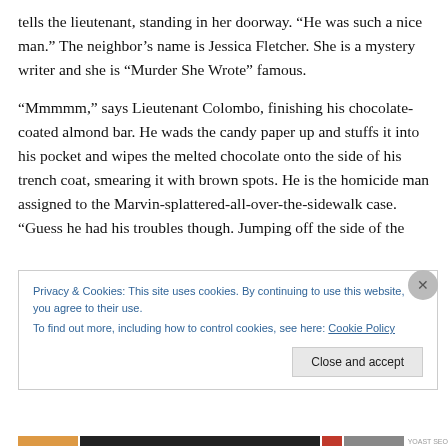tells the lieutenant, standing in her doorway. “He was such a nice man.” The neighbor’s name is Jessica Fletcher. She is a mystery writer and she is “Murder She Wrote” famous.

“Mmmmm,” says Lieutenant Colombo, finishing his chocolate-coated almond bar. He wads the candy paper up and stuffs it into his pocket and wipes the melted chocolate onto the side of his trench coat, smearing it with brown spots. He is the homicide man assigned to the Marvin-splattered-all-over-the-sidewalk case. “Guess he had his troubles though. Jumping off the side of the
Privacy & Cookies: This site uses cookies. By continuing to use this website, you agree to their use.
To find out more, including how to control cookies, see here: Cookie Policy
Close and accept